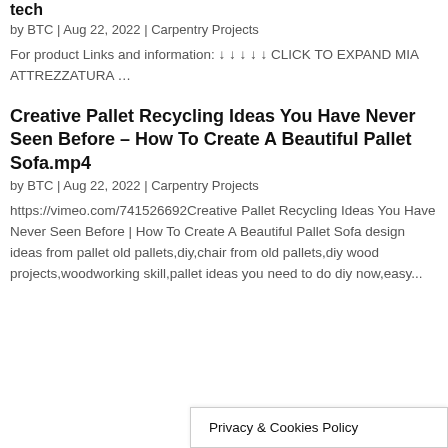tech
by BTC | Aug 22, 2022 | Carpentry Projects
For product Links and information: ↓ ↓ ↓ ↓ ↓ CLICK TO EXPAND MIA ATTREZZATURA …
Creative Pallet Recycling Ideas You Have Never Seen Before – How To Create A Beautiful Pallet Sofa.mp4
by BTC | Aug 22, 2022 | Carpentry Projects
https://vimeo.com/741526692Creative Pallet Recycling Ideas You Have Never Seen Before | How To Create A Beautiful Pallet Sofa design ideas from pallet old pallets,diy,chair from old pallets,diy wood projects,woodworking skill,pallet ideas you need to do diy now,easy...
Privacy & Cookies Policy